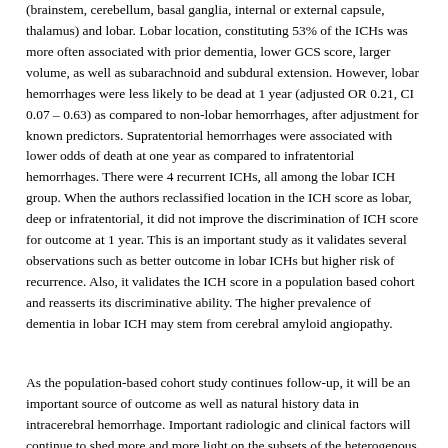(brainstem, cerebellum, basal ganglia, internal or external capsule, thalamus) and lobar. Lobar location, constituting 53% of the ICHs was more often associated with prior dementia, lower GCS score, larger volume, as well as subarachnoid and subdural extension. However, lobar hemorrhages were less likely to be dead at 1 year (adjusted OR 0.21, CI 0.07 – 0.63) as compared to non-lobar hemorrhages, after adjustment for known predictors. Supratentorial hemorrhages were associated with lower odds of death at one year as compared to infratentorial hemorrhages. There were 4 recurrent ICHs, all among the lobar ICH group. When the authors reclassified location in the ICH score as lobar, deep or infratentorial, it did not improve the discrimination of ICH score for outcome at 1 year. This is an important study as it validates several observations such as better outcome in lobar ICHs but higher risk of recurrence. Also, it validates the ICH score in a population based cohort and reasserts its discriminative ability. The higher prevalence of dementia in lobar ICH may stem from cerebral amyloid angiopathy.
As the population-based cohort study continues follow-up, it will be an important source of outcome as well as natural history data in intracerebral hemorrhage. Important radiologic and clinical factors will continue to shed more and more light on the subsets of the heterogenous entity of ICH, which in the long run may lead to novel interventions for